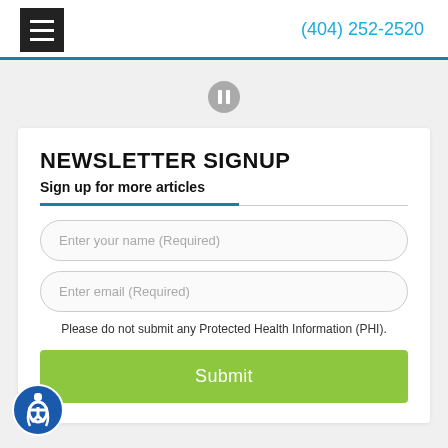(404) 252-2520
NEWSLETTER SIGNUP
Sign up for more articles
Enter your name (Required)
Enter email (Required)
Please do not submit any Protected Health Information (PHI).
Submit